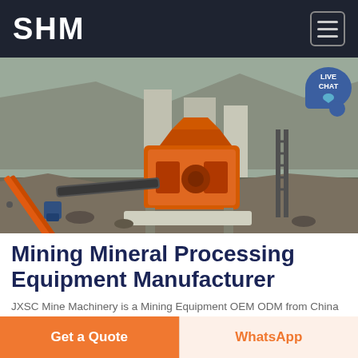SHM
[Figure (photo): Outdoor mining site with large orange industrial crushing/processing machinery on a conveyor structure, rocky terrain and cliffs in background. A 'LIVE CHAT' speech bubble badge appears in the top-right corner of the image.]
Mining Mineral Processing Equipment Manufacturer
JXSC Mine Machinery is a Mining Equipment OEM ODM from China with over 35 years of rich experience in the mineral processing area we provide our global customers with sustainable minerals processing
Get a Quote
WhatsApp